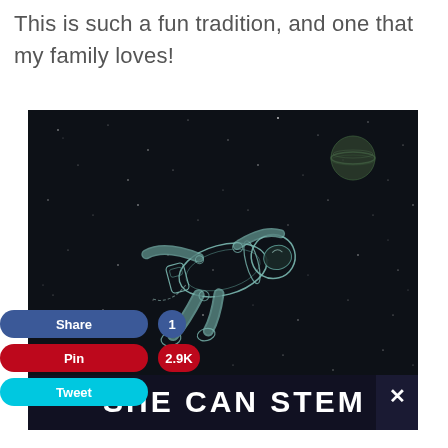This is such a fun tradition, and one that my family loves!
[Figure (illustration): Dark space-themed illustration showing an astronaut floating/drifting in outer space with a planet visible in the upper right corner and stars in the background. Below the image is text reading 'SHE CAN STEM' in bold white letters on a dark background.]
Share 1
Pin 2.9K
Tweet